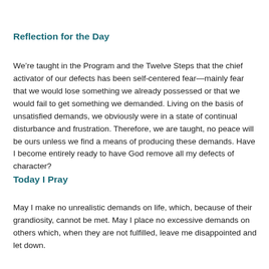Reflection for the Day
We’re taught in the Program and the Twelve Steps that the chief activator of our defects has been self-centered fear—mainly fear that we would lose something we already possessed or that we would fail to get something we demanded. Living on the basis of unsatisfied demands, we obviously were in a state of continual disturbance and frustration. Therefore, we are taught, no peace will be ours unless we find a means of producing these demands. Have I become entirely ready to have God remove all my defects of character?
Today I Pray
May I make no unrealistic demands on life, which, because of their grandiosity, cannot be met. May I place no excessive demands on others which, when they are not fulfilled, leave me disappointed and let down.